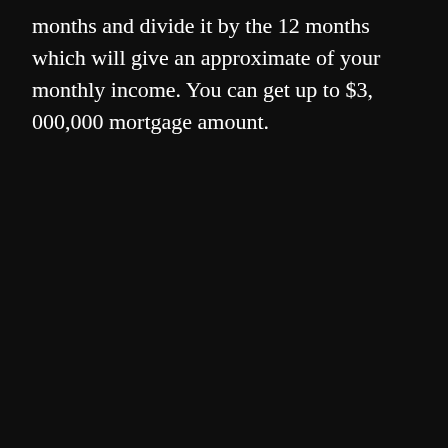months and divide it by the 12 months which will give an approximate of your monthly income. You can get up to $3, 000,000 mortgage amount.